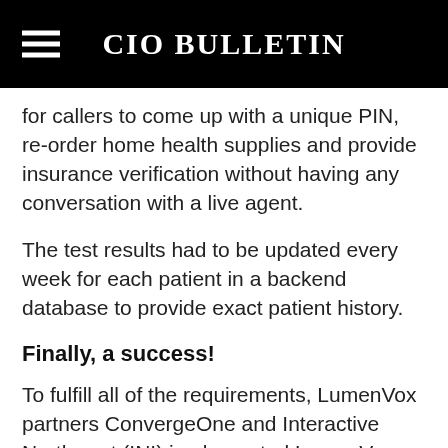CIO BULLETIN
for callers to come up with a unique PIN, re-order home health supplies and provide insurance verification without having any conversation with a live agent.
The test results had to be updated every week for each patient in a backend database to provide exact patient history.
Finally, a success!
To fulfill all of the requirements, LumenVox partners ConvergeOne and Interactive Northwest (INI) implemented LumenVox Speech Recognition (ASR) and LumenVox Text-to-Speech (TTS) on the Avaya Aura® Experience Portal (AEP) interactive